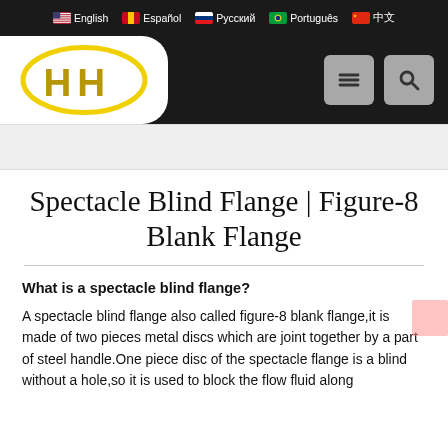English  Español  Русский  Português  中文
[Figure (logo): HH logo — yellow oval with two letter H inside, on white rounded background, set against dark navigation bar with hamburger menu and search icon buttons]
Spectacle Blind Flange | Figure-8 Blank Flange
What is a spectacle blind flange?
A spectacle blind flange also called figure-8 blank flange,it is made of two pieces metal discs which are joint together by a part of steel handle.One piece disc of the spectacle flange is a blind without a hole,so it is used to block the flow fluid along…